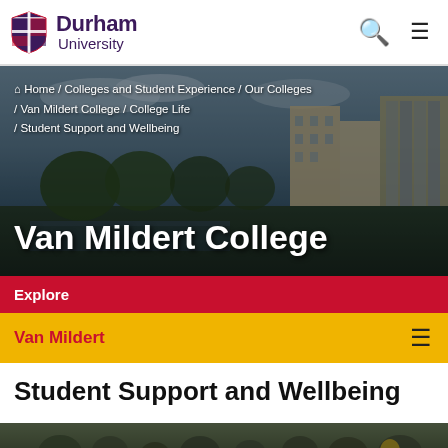Durham University
Home / Colleges and Student Experience / Our Colleges / Van Mildert College / College Life / Student Support and Wellbeing
Van Mildert College
Explore
Van Mildert
Student Support and Wellbeing
[Figure (photo): Students gathered outdoors on grass at Van Mildert College]